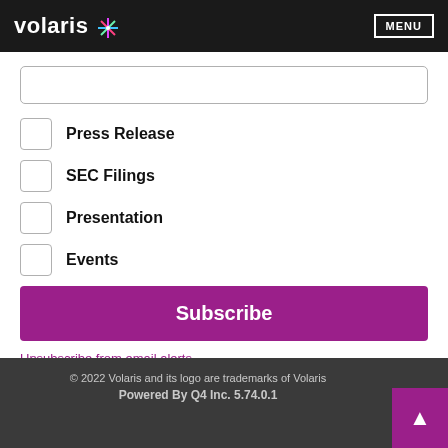volaris MENU
Press Release
SEC Filings
Presentation
Events
Subscribe
Unsubscribe from email alerts
© 2022 Volaris and its logo are trademarks of Volaris
Powered By Q4 Inc. 5.74.0.1